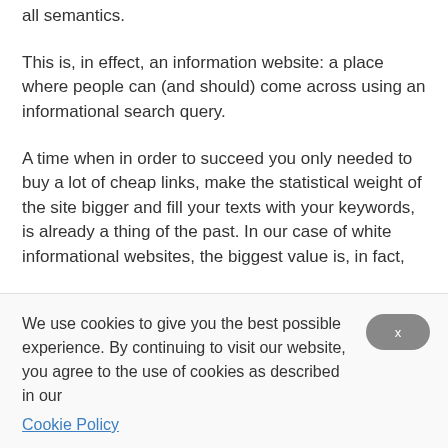all semantics.
This is, in effect, an information website: a place where people can (and should) come across using an informational search query.
A time when in order to succeed you only needed to buy a lot of cheap links, make the statistical weight of the site bigger and fill your texts with your keywords, is already a thing of the past. In our case of white informational websites, the biggest value is, in fact,
We use cookies to give you the best possible experience. By continuing to visit our website, you agree to the use of cookies as described in our
Cookie Policy